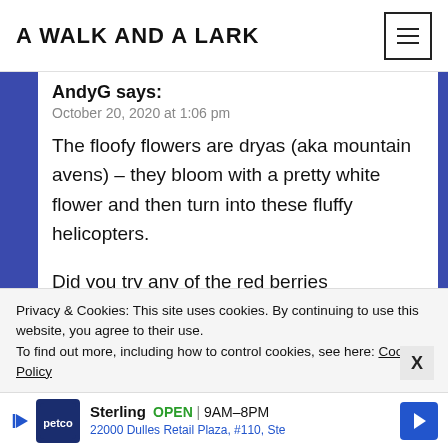A WALK AND A LARK
AndyG says:
October 20, 2020 at 1:06 pm
The floofy flowers are dryas (aka mountain avens) – they bloom with a pretty white flower and then turn into these fluffy helicopters.

Did you try any of the red berries (soapberries)? They're definitely worth a try. Once…
Privacy & Cookies: This site uses cookies. By continuing to use this website, you agree to their use.
To find out more, including how to control cookies, see here: Cookie Policy
[Figure (infographic): Petco advertisement banner showing Petco logo, Sterling store, OPEN 9AM-8PM, 22000 Dulles Retail Plaza, #110, Ste]